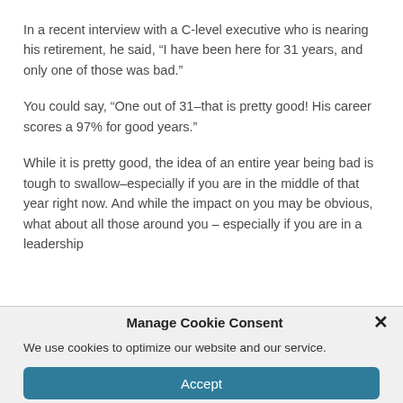In a recent interview with a C-level executive who is nearing his retirement, he said, “I have been here for 31 years, and only one of those was bad.”
You could say, “One out of 31–that is pretty good! His career scores a 97% for good years.”
While it is pretty good, the idea of an entire year being bad is tough to swallow–especially if you are in the middle of that year right now. And while the impact on you may be obvious, what about all those around you – especially if you are in a leadership
Manage Cookie Consent
We use cookies to optimize our website and our service.
Accept